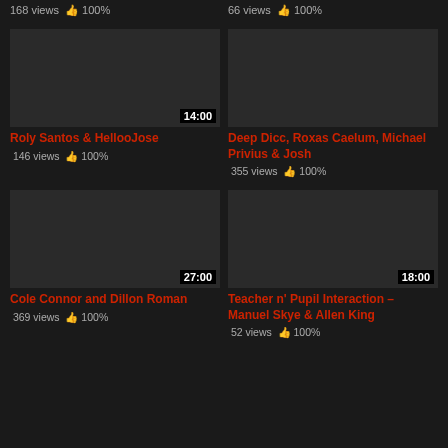168 views 👍 100%
66 views 👍 100%
[Figure (screenshot): Video thumbnail dark with duration 14:00]
Roly Santos & HellooJose
146 views 👍 100%
[Figure (screenshot): Video thumbnail dark, no duration visible]
Deep Dicc, Roxas Caelum, Michael Privius & Josh
355 views 👍 100%
[Figure (screenshot): Video thumbnail dark with duration 27:00]
Cole Connor and Dillon Roman
369 views 👍 100%
[Figure (screenshot): Video thumbnail dark with duration 18:00]
Teacher n' Pupil Interaction – Manuel Skye & Allen King
52 views 👍 100%